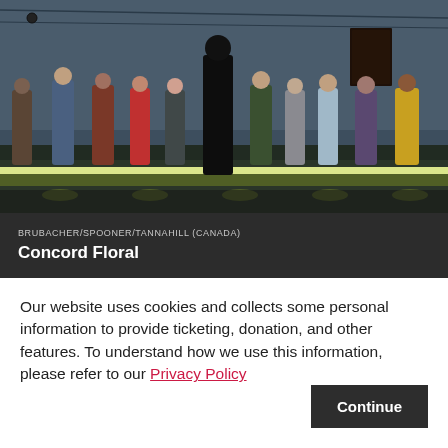[Figure (photo): Theatre stage photo showing a group of about 10 people standing in a line on a stage with dramatic lighting. A central figure in dark clothing stands in the foreground. The background shows a dark stage wall with a door. A bright light strip runs along the stage floor.]
BRUBACHER/SPOONER/TANNAHILL (CANADA)
Concord Floral
Our website uses cookies and collects some personal information to provide ticketing, donation, and other features. To understand how we use this information, please refer to our Privacy Policy